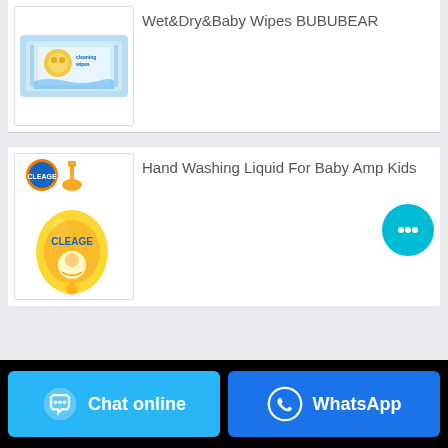Wet&Dry&Baby Wipes BUBUBEAR
[Figure (photo): Baby wipes product package in blue, BUBUBEAR brand]
[Figure (photo): CLEAGE hand washing liquid soap for baby and kids in yellow bottle with pump]
Hand Washing Liquid For Baby Amp Kids
Chat online
WhatsApp